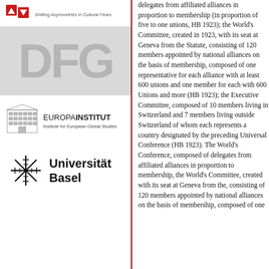[Figure (logo): SACF logo with arrows and text 'Shifting Asymmetries in Cultural Flows']
[Figure (logo): DFG logo - large grey letters DFG on grey background]
[Figure (logo): Europa Institut logo with building icon, text 'EUROPAINSTITUT Institute for European Global Studies']
[Figure (logo): Universität Basel logo with snowflake/star symbol and text 'Universität Basel']
delegates from affiliated alliances in proportion to membership (in proportion of five to one unions, HB 1923); the World's Committee, created in 1923, with its seat at Geneva from the Statute, consisting of 120 members appointed by national alliances on the basis of membership, composed of one representative for each alliance with at least 600 unions and one member for each with 600 Unions and more (HB 1923); the Executive Committee, composed of 10 members living in Switzerland and 7 members living outside Switzerland of whom each represents a country designated by the preceding Universal Conference (HB 1923). The World's Conference, composed of delegates from affiliated alliances in proportion to membership, the World's Committee, created with its seat at Geneva from the, consisting of 120 members appointed by national alliances on the basis of membership, composed of one